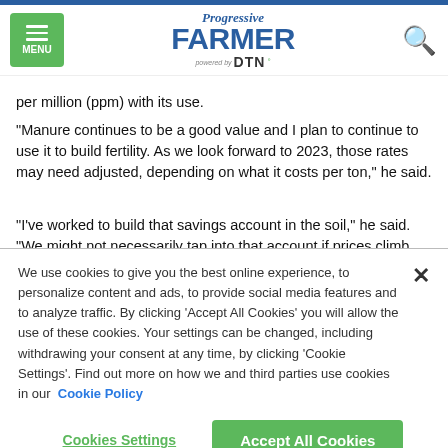Progressive FARMER powered by DTN
per million (ppm) with its use.
"Manure continues to be a good value and I plan to continue to use it to build fertility. As we look forward to 2023, those rates may need adjusted, depending on what it costs per ton," he said.
"I've worked to build that savings account in the soil," he said. "We might not necessarily tap into that account if prices climb, but we might not build the account quite like we've been," Garrabrant
We use cookies to give you the best online experience, to personalize content and ads, to provide social media features and to analyze traffic. By clicking 'Accept All Cookies' you will allow the use of these cookies. Your settings can be changed, including withdrawing your consent at any time, by clicking 'Cookie Settings'. Find out more on how we and third parties use cookies in our Cookie Policy
Cookies Settings
Accept All Cookies